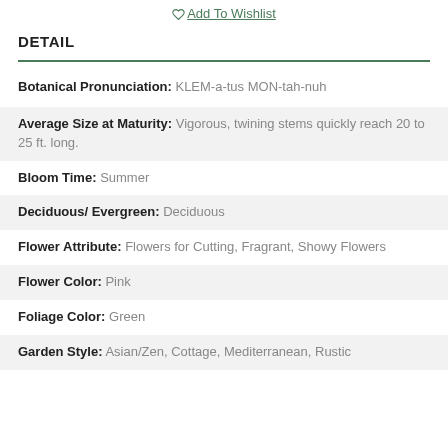Add To Wishlist
DETAIL
Botanical Pronunciation: KLEM-a-tus MON-tah-nuh
Average Size at Maturity: Vigorous, twining stems quickly reach 20 to 25 ft. long.
Bloom Time: Summer
Deciduous/ Evergreen: Deciduous
Flower Attribute: Flowers for Cutting, Fragrant, Showy Flowers
Flower Color: Pink
Foliage Color: Green
Garden Style: Asian/Zen, Cottage, Mediterranean, Rustic